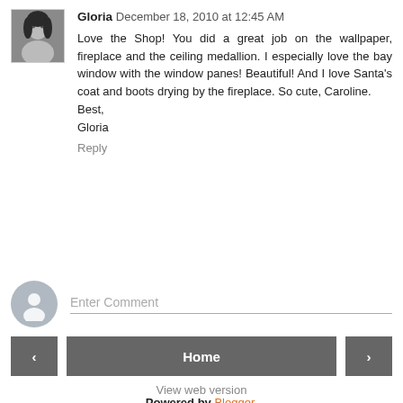[Figure (photo): Small square avatar photo of Gloria, a woman with dark hair]
Gloria December 18, 2010 at 12:45 AM
Love the Shop! You did a great job on the wallpaper, fireplace and the ceiling medallion. I especially love the bay window with the window panes! Beautiful! And I love Santa's coat and boots drying by the fireplace. So cute, Caroline.
Best,
Gloria
Reply
[Figure (illustration): Grey circular avatar placeholder with silhouette user icon]
Enter Comment
‹
Home
›
View web version
Powered by Blogger.